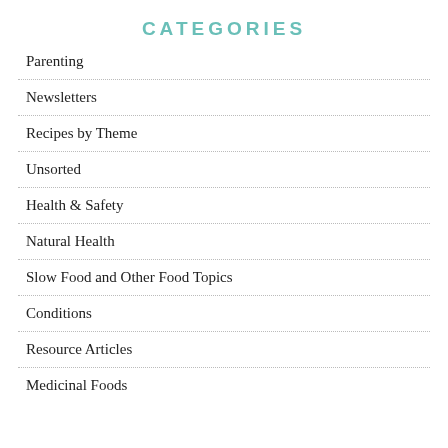CATEGORIES
Parenting
Newsletters
Recipes by Theme
Unsorted
Health & Safety
Natural Health
Slow Food and Other Food Topics
Conditions
Resource Articles
Medicinal Foods